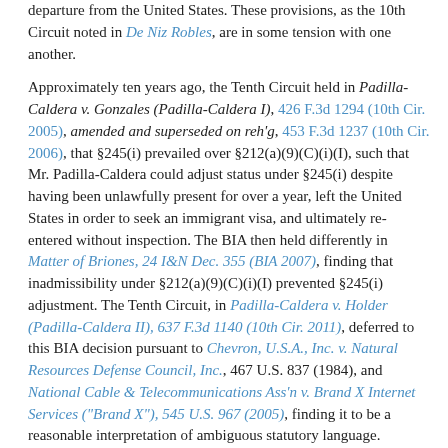departure from the United States. These provisions, as the 10th Circuit noted in De Niz Robles, are in some tension with one another.
Approximately ten years ago, the Tenth Circuit held in Padilla-Caldera v. Gonzales (Padilla-Caldera I), 426 F.3d 1294 (10th Cir. 2005), amended and superseded on reh'g, 453 F.3d 1237 (10th Cir. 2006), that §245(i) prevailed over §212(a)(9)(C)(i)(I), such that Mr. Padilla-Caldera could adjust status under §245(i) despite having been unlawfully present for over a year, left the United States in order to seek an immigrant visa, and ultimately re-entered without inspection. The BIA then held differently in Matter of Briones, 24 I&N Dec. 355 (BIA 2007), finding that inadmissibility under §212(a)(9)(C)(i)(I) prevented §245(i) adjustment. The Tenth Circuit, in Padilla-Caldera v. Holder (Padilla-Caldera II), 637 F.3d 1140 (10th Cir. 2011), deferred to this BIA decision pursuant to Chevron, U.S.A., Inc. v. Natural Resources Defense Council, Inc., 467 U.S. 837 (1984), and National Cable & Telecommunications Ass'n v. Brand X Internet Services ("Brand X"), 545 U.S. 967 (2005), finding it to be a reasonable interpretation of ambiguous statutory language.
In the meantime, however, between the time of Padilla-Caldera I and Matter of Briones, Mr. De Niz Robles had applied for adjustment of